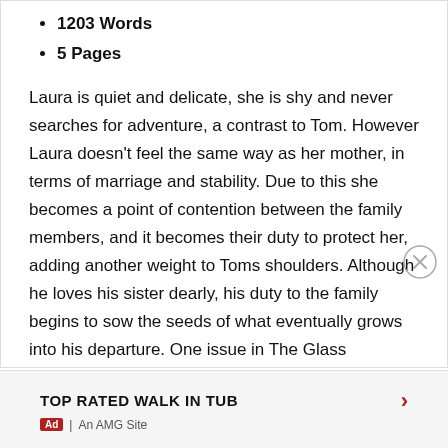1203 Words
5 Pages
Laura is quiet and delicate, she is shy and never searches for adventure, a contrast to Tom. However Laura doesn't feel the same way as her mother, in terms of marriage and stability. Due to this she becomes a point of contention between the family members, and it becomes their duty to protect her, adding another weight to Toms shoulders. Although he loves his sister dearly, his duty to the family begins to sow the seeds of what eventually grows into his departure. One issue in The Glass Menagerie that leads to family conflict is the lack of a father figure....
TOP RATED WALK IN TUB | An AMG Site